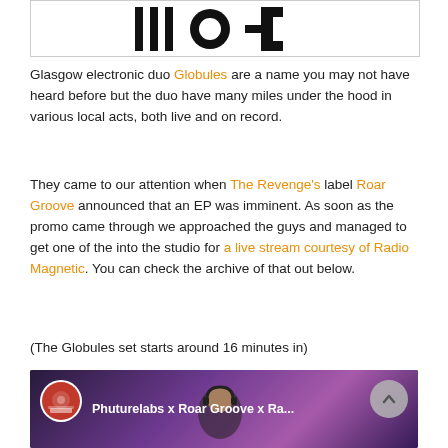[Figure (logo): Black and white logo with geometric shapes resembling letters, in a bordered box]
Glasgow electronic duo Globules are a name you may not have heard before but the duo have many miles under the hood in various local acts, both live and on record.
They came to our attention when The Revenge's label Roar Groove announced that an EP was imminent. As soon as the promo came through we approached the guys and managed to get one of the into the studio for a live stream courtesy of Radio Magnetic. You can check the archive of that out below.
(The Globules set starts around 16 minutes in)
[Figure (screenshot): YouTube video thumbnail showing Phuturelabs x Roar Groove x Ra... with a DJ in purple-lit studio, red circular logo icon on left, and grey arrow button on right]